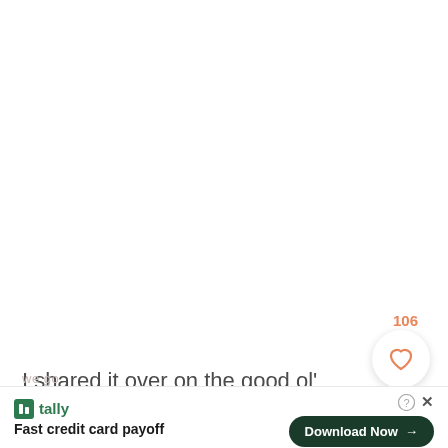[Figure (screenshot): White blank/image area at top of page]
106
[Figure (other): Heart (like) button circle with orange heart icon, count 106]
[Figure (other): Orange search/magnify circle button]
I shared it over on the good ol' intsa and asked if y'all wanted the recipe. Resounding yes. So here
[Figure (screenshot): Tally advertisement banner: 'Fast credit card payoff' with Download Now button, close and info icons]